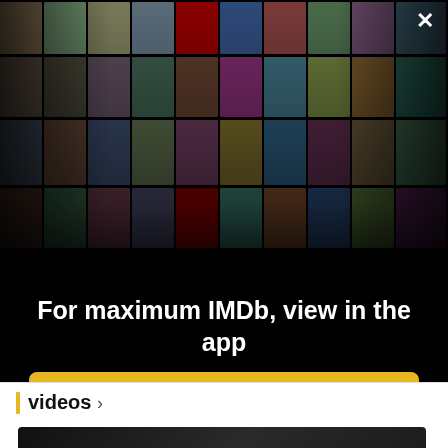[Figure (photo): IMDb app promotional overlay showing a collage of celebrity headshots and movie posters arranged in a 3D perspective grid on a black background, with a white X close button in the top right corner]
For maximum IMDb, view in the app
Get the app
Videos ›
[Figure (screenshot): A dark-toned video thumbnail preview]